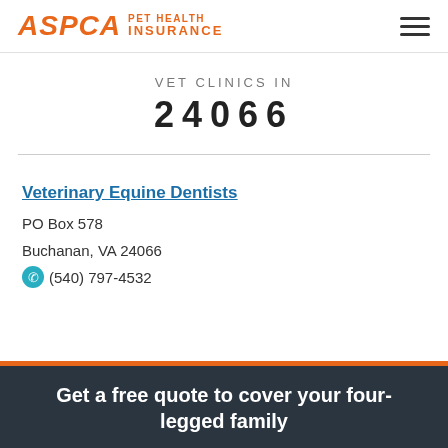ASPCA PET HEALTH INSURANCE
VET CLINICS IN 24066
Veterinary Equine Dentists
PO Box 578
Buchanan, VA 24066
(540) 797-4532
Get a free quote to cover your four-legged family